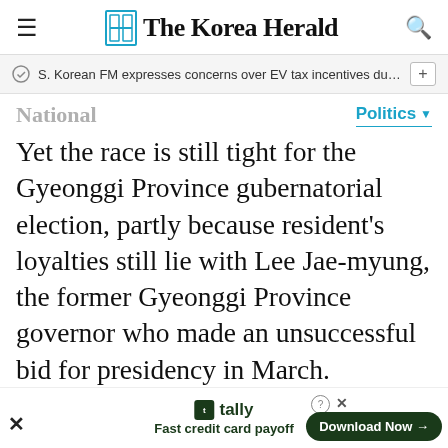The Korea Herald
S. Korean FM expresses concerns over EV tax incentives during c…
National
Politics
Yet the race is still tight for the Gyeonggi Province gubernatorial election, partly because resident's loyalties still lie with Lee Jae-myung, the former Gyeonggi Province governor who made an unsuccessful bid for presidency in March.
Kim Eun-hye, flagbearer for the ruling party in the gubernatorial election, was seen to be …
[Figure (other): Tally app advertisement banner: Fast credit card payoff with Download Now button]